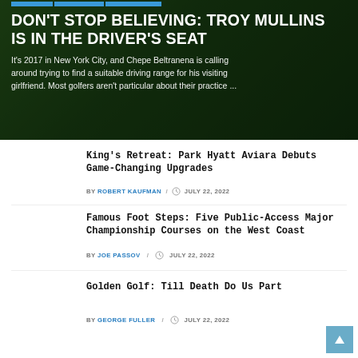[Figure (photo): Hero banner with dark green golf course background and a golfer figure. Blue category tab buttons at top.]
DON'T STOP BELIEVING: TROY MULLINS IS IN THE DRIVER'S SEAT
It's 2017 in New York City, and Chepe Beltranena is calling around trying to find a suitable driving range for his visiting girlfriend. Most golfers aren't particular about their practice ...
King's Retreat: Park Hyatt Aviara Debuts Game-Changing Upgrades
BY ROBERT KAUFMAN / JULY 22, 2022
Famous Foot Steps: Five Public-Access Major Championship Courses on the West Coast
BY JOE PASSOV / JULY 22, 2022
Golden Golf: Till Death Do Us Part
BY GEORGE FULLER / JULY 22, 2022